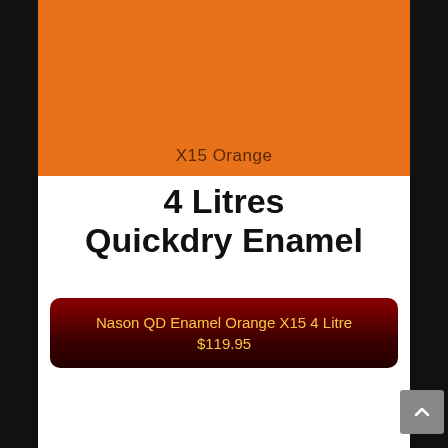[Figure (illustration): Orange paint color swatch labeled X15 Orange]
X15 Orange
4 Litres
Quickdry Enamel
Nason QD Enamel Orange X15 4 Litre
$119.95